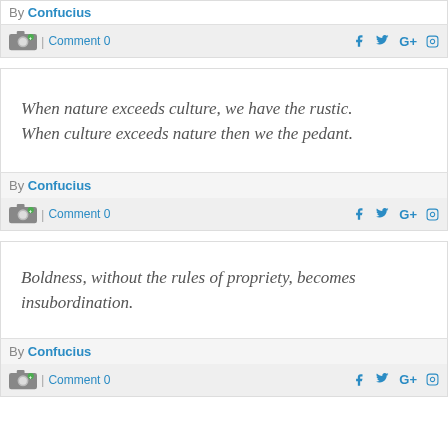By Confucius
Comment 0
When nature exceeds culture, we have the rustic. When culture exceeds nature then we the pedant.
By Confucius
Comment 0
Boldness, without the rules of propriety, becomes insubordination.
By Confucius
Comment 0